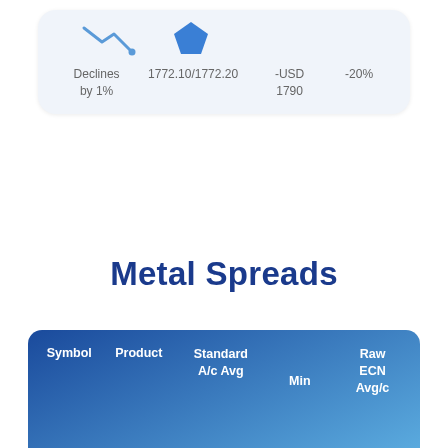[Figure (infographic): A card with two icons (a line-chart decline icon and a blue pentagon icon) and a row of data: 'Declines by 1%', '1772.10/1772.20', '-USD 1790', '-20%']
Metal Spreads
| Symbol | Product | Standard A/c Avg | Min | Raw ECN Avg/c |
| --- | --- | --- | --- | --- |